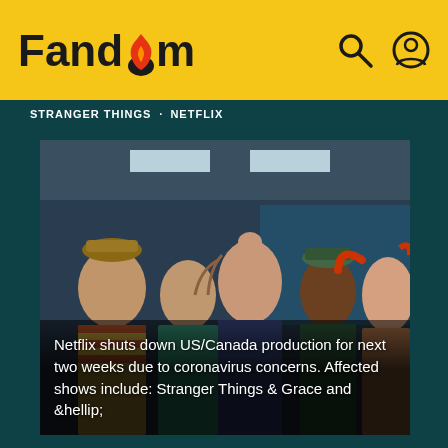Fandom
STRANGER THINGS · NETFLIX
[Figure (photo): Group of five teenagers looking up with shocked/worried expressions in what appears to be a school hallway with fluorescent lighting. Scene from Stranger Things on Netflix.]
Netflix shuts down US/Canada production for next two weeks due to coronavirus concerns. Affected shows include: Stranger Things & Grace and &hellip;